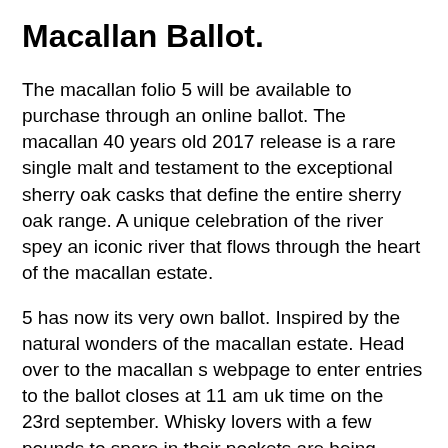Macallan Ballot.
The macallan folio 5 will be available to purchase through an online ballot. The macallan 40 years old 2017 release is a rare single malt and testament to the exceptional sherry oak casks that define the entire sherry oak range. A unique celebration of the river spey an iconic river that flows through the heart of the macallan estate.
5 has now its very own ballot. Inspired by the natural wonders of the macallan estate. Head over to the macallan s webpage to enter entries to the ballot closes at 11 am uk time on the 23rd september. Whisky lovers with a few pounds to spare in their pockets are being invited to enter a ballot to purchase the macallan 40 years old 2017 release for sale at 6250. Situated on the banks of the spey river in the heart of speyside the distillery is based at